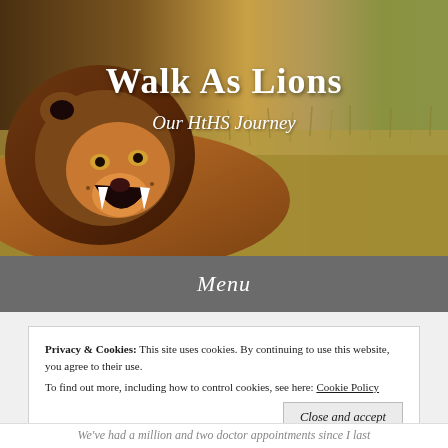[Figure (photo): A lion roaring with open mouth, photographed in a grassy savanna. The lion faces left with a large mane.]
Walk As Lions
Our HtHS Journey
Menu
Privacy & Cookies:  This site uses cookies. By continuing to use this website, you agree to their use.
To find out more, including how to control cookies, see here: Cookie Policy
Close and accept
We've had a million and two doctor appointments since I last